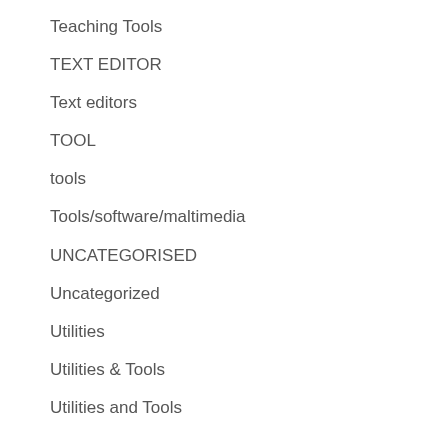Teaching Tools
TEXT EDITOR
Text editors
TOOL
tools
Tools/software/maltimedia
UNCATEGORISED
Uncategorized
Utilities
Utilities & Tools
Utilities and Tools